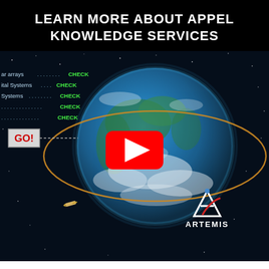LEARN MORE ABOUT APPEL KNOWLEDGE SERVICES
[Figure (screenshot): YouTube video thumbnail showing a stylized Earth from space with an orange orbital ring around it, a spacecraft, and a checklist overlay with items marked CHECK in green. A GO! button appears in red on the left. The Artemis logo appears in the bottom right. A red YouTube play button is centered.]
Through its world-class training curriculum, knowledge